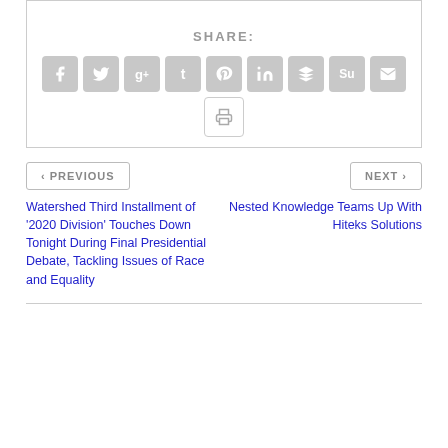SHARE:
[Figure (infographic): Row of social media share buttons: Facebook, Twitter, Google+, Tumblr, Pinterest, LinkedIn, Buffer, StumbleUpon, Email, and a Print button below]
< PREVIOUS
NEXT >
Watershed Third Installment of '2020 Division' Touches Down Tonight During Final Presidential Debate, Tackling Issues of Race and Equality
Nested Knowledge Teams Up With Hiteks Solutions